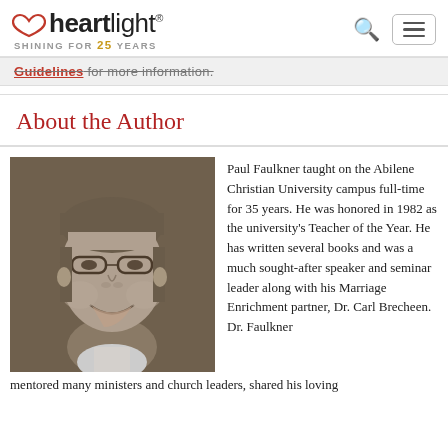heartlight® — SHINING FOR 25 YEARS
Guidelines for more information.
About the Author
[Figure (photo): Black and white photo of Paul Faulkner, a middle-aged man with glasses, smiling, wearing a suit.]
Paul Faulkner taught on the Abilene Christian University campus full-time for 35 years. He was honored in 1982 as the university's Teacher of the Year. He has written several books and was a much sought-after speaker and seminar leader along with his Marriage Enrichment partner, Dr. Carl Brecheen. Dr. Faulkner mentored many ministers and church leaders, shared his loving